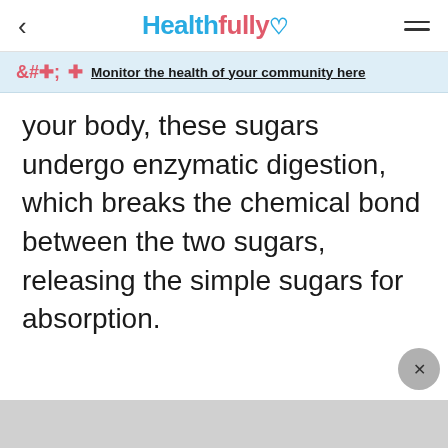Healthfully
Monitor the health of your community here
your body, these sugars undergo enzymatic digestion, which breaks the chemical bond between the two sugars, releasing the simple sugars for absorption.